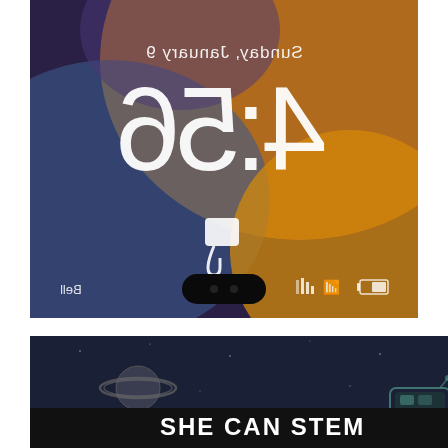[Figure (screenshot): iPhone lock screen shown upside-down/mirrored with colorful abstract wallpaper (blue, orange, yellow), displaying date 'Sunday, January 9' and time '4:56' in white text, with status bar icons and a black pill-shaped dynamic island at bottom. The screen content is horizontally flipped.]
[Figure (screenshot): Dark space-themed banner image with star field background showing illustrated planets (Saturn-like with rings, and a ringed gas giant) and a rover vehicle illustration, with 'SHE CAN STEM' text in bold white on a black bar, and a small logo icon on the right side.]